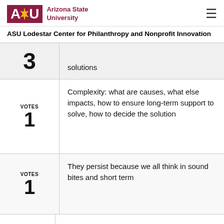[Figure (logo): ASU Arizona State University logo with maroon block letters and sun icon]
ASU Lodestar Center for Philanthropy and Nonprofit Innovation
| VOTES | Content |
| --- | --- |
| 3 | …solutions |
| VOTES 1 | Complexity: what are causes, what else impacts, how to ensure long-term support to solve, how to decide the solution |
| VOTES 1 | They persist because we all think in sound bites and short term |
| VOTES ... | ... |